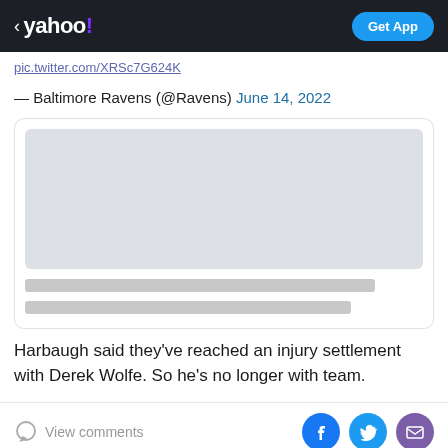< yahoo!  Get App
pic.twitter.com/XRSc7G624K
— Baltimore Ravens (@Ravens) June 14, 2022
[Figure (screenshot): Embedded tweet card with a gray image placeholder and two gray text placeholder lines]
Harbaugh said they've reached an injury settlement with Derek Wolfe. So he's no longer with team.
View comments
Facebook, Twitter, Mail share icons